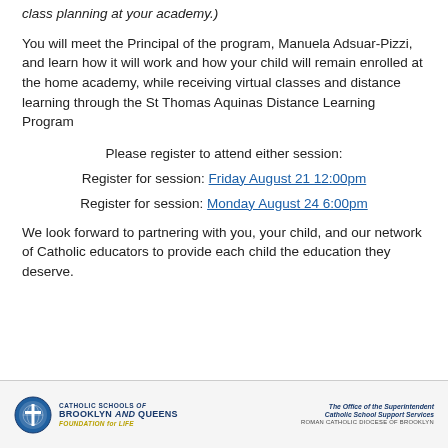class planning at your academy.)
You will meet the Principal of the program, Manuela Adsuar-Pizzi, and learn how it will work and how your child will remain enrolled at the home academy, while receiving virtual classes and distance learning through the St Thomas Aquinas Distance Learning Program
Please register to attend either session:
Register for session: Friday August 21 12:00pm
Register for session: Monday August 24 6:00pm
We look forward to partnering with you, your child, and our network of Catholic educators to provide each child the education they deserve.
[Figure (logo): Catholic Schools of Brooklyn and Queens Foundation for Life logo with cross emblem, and The Office of the Superintendent Catholic School Support Services Roman Catholic Diocese of Brooklyn text]